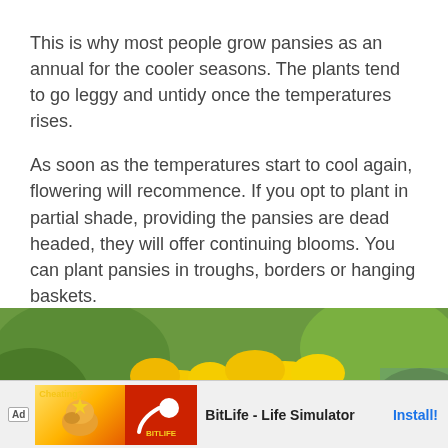This is why most people grow pansies as an annual for the cooler seasons. The plants tend to go leggy and untidy once the temperatures rises.
As soon as the temperatures start to cool again, flowering will recommence. If you opt to plant in partial shade, providing the pansies are dead headed, they will offer continuing blooms. You can plant pansies in troughs, borders or hanging baskets.
[Figure (photo): Photo of yellow pansy flowers with green foliage background]
[Figure (screenshot): Mobile advertisement banner for BitLife - Life Simulator app, showing Ad label, app icon with muscle/BitLife graphics, app name, and Install button]